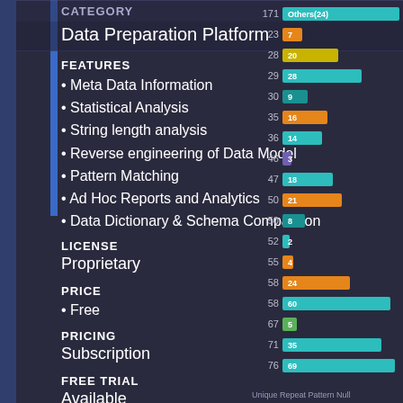CATEGORY
Data Preparation Platform
FEATURES
• Meta Data Information
• Statistical Analysis
• String length analysis
• Reverse engineering of Data Model
• Pattern Matching
• Ad Hoc Reports and Analytics
• Data Dictionary & Schema Comparison
LICENSE
Proprietary
PRICE
• Free
PRICING
Subscription
FREE TRIAL
Available
USERS SIZE
Small (<50 employees), Medium (50 to 1000 Enterprise (>1001 employees)
[Figure (bar-chart): Pattern matching chart]